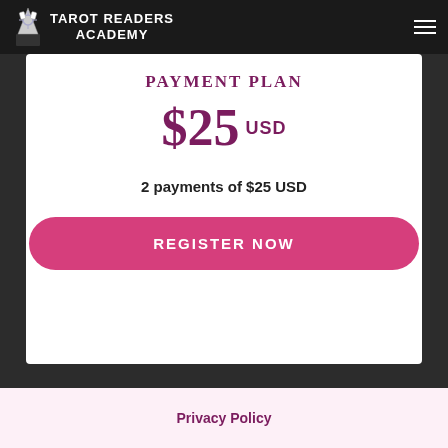TAROT READERS ACADEMY
PAYMENT PLAN
$25 USD
2 payments of $25 USD
REGISTER NOW
Privacy Policy